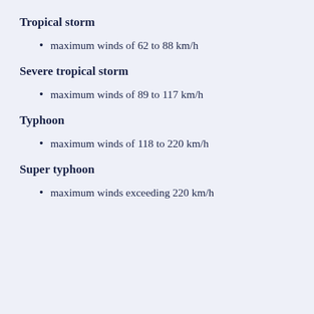Tropical storm
maximum winds of 62 to 88 km/h
Severe tropical storm
maximum winds of 89 to 117 km/h
Typhoon
maximum winds of 118 to 220 km/h
Super typhoon
maximum winds exceeding 220 km/h